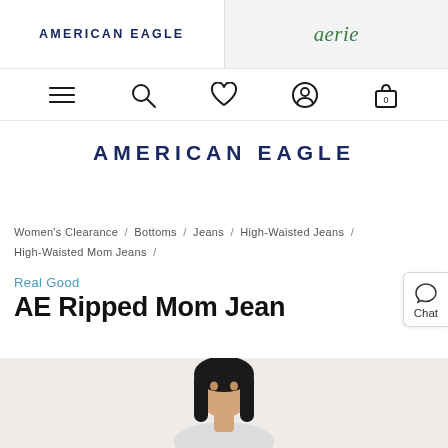AMERICAN EAGLE
aerie
[Figure (screenshot): Navigation icons: hamburger menu, search, heart/wishlist, account, shopping bag with 0]
AMERICAN EAGLE
Women's Clearance / Bottoms / Jeans / High-Waisted Jeans / High-Waisted Mom Jeans /
Real Good
AE Ripped Mom Jean
[Figure (photo): Cropped photo of a young woman model with long dark hair, visible from shoulders up, on a light background]